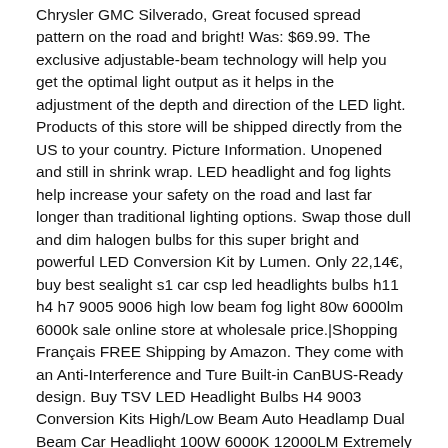Chrysler GMC Silverado, Great focused spread pattern on the road and bright! Was: $69.99. The exclusive adjustable-beam technology will help you get the optimal light output as it helps in the adjustment of the depth and direction of the LED light. Products of this store will be shipped directly from the US to your country. Picture Information. Unopened and still in shrink wrap. LED headlight and fog lights help increase your safety on the road and last far longer than traditional lighting options. Swap those dull and dim halogen bulbs for this super bright and powerful LED Conversion Kit by Lumen. Only 22,14€, buy best sealight s1 car csp led headlights bulbs h11 h4 h7 9005 9006 high low beam fog light 80w 6000lm 6000k sale online store at wholesale price.|Shopping Français FREE Shipping by Amazon. They come with an Anti-Interference and Ture Built-in CanBUS-Ready design. Buy TSV LED Headlight Bulbs H4 9003 Conversion Kits High/Low Beam Auto Headlamp Dual Beam Car Headlight 100W 6000K 12000LM Extremely Super Bright COB Chips, 1 Pair at Walmart.com Free shipping . Contact the seller.